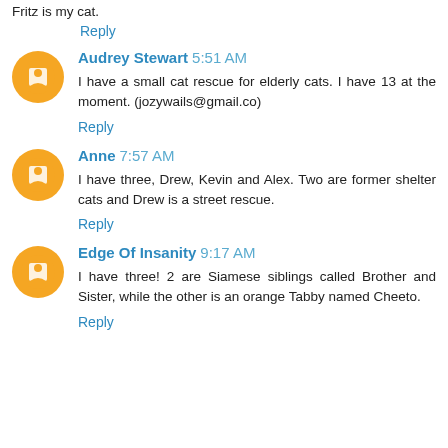Fritz is my cat.
Reply
Audrey Stewart 5:51 AM
I have a small cat rescue for elderly cats. I have 13 at the moment. (jozywails@gmail.co)
Reply
Anne 7:57 AM
I have three, Drew, Kevin and Alex. Two are former shelter cats and Drew is a street rescue.
Reply
Edge Of Insanity 9:17 AM
I have three! 2 are Siamese siblings called Brother and Sister, while the other is an orange Tabby named Cheeto.
Reply